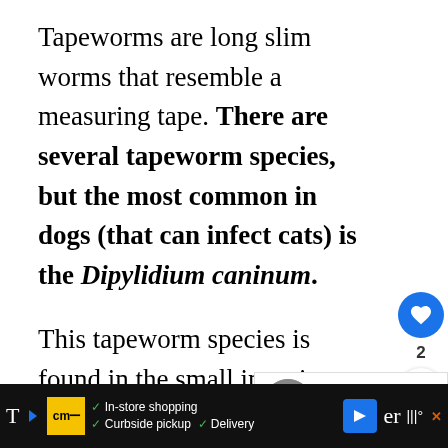Tapeworms are long slim worms that resemble a measuring tape. There are several tapeworm species, but the most common in dogs (that can infect cats) is the Dipylidium caninum.
This tapeworm species is found in the small intestine and can be transmitted by contact of the eggs in the feces of infected dogs.
5. Whipworms
Trichuris trichiura species is called whipworms because it has a whip-like body.
T... [ad bar: In-store shopping, Curbside pickup, Delivery] ...er